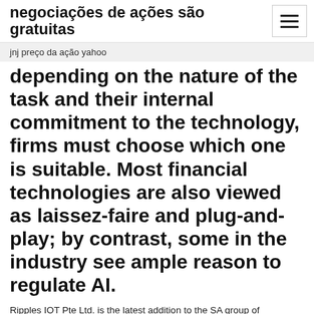negociações de ações são gratuitas
jnj preço da ação yahoo
depending on the nature of the task and their internal commitment to the technology, firms must choose which one is suitable. Most financial technologies are also viewed as laissez-faire and plug-and-play; by contrast, some in the industry see ample reason to regulate AI.
Ripples IOT Pte Ltd. is the latest addition to the SA group of companies. With established IPs in industrial automation, supply chain logistics & healthcare verticals, we have catered to the IT requirements of organisations like MasterCard, Asia